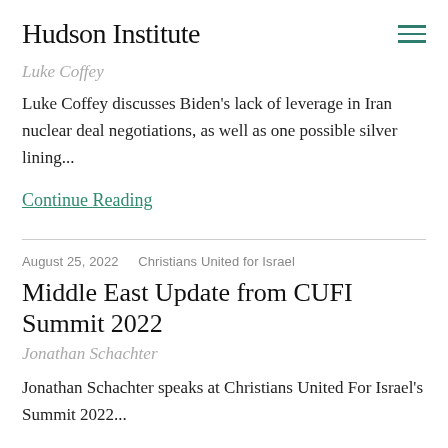Hudson Institute
Luke Coffey
Luke Coffey discusses Biden's lack of leverage in Iran nuclear deal negotiations, as well as one possible silver lining...
Continue Reading
August 25, 2022   Christians United for Israel
Middle East Update from CUFI Summit 2022
Jonathan Schachter
Jonathan Schachter speaks at Christians United For Israel's Summit 2022...